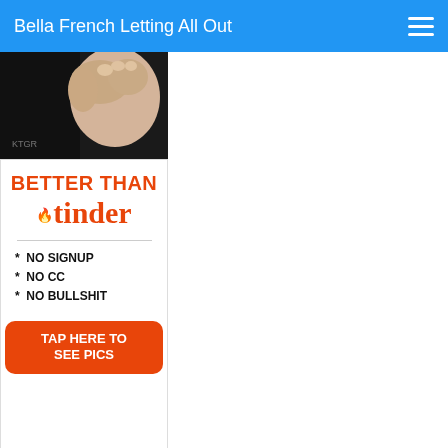Bella French Letting All Out
[Figure (photo): Close-up photo of a hand/fist against a dark background]
[Figure (infographic): Advertisement banner: BETTER THAN tinder - NO SIGNUP, NO CC, NO BULLSHIT - TAP HERE TO SEE PICS]
[Figure (photo): Partial bottom image strip, dark background]